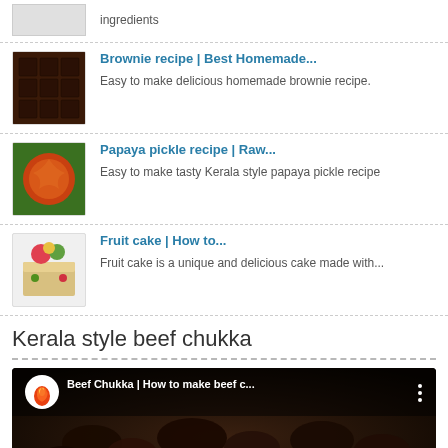ingredients
Brownie recipe | Best Homemade... — Easy to make delicious homemade brownie recipe.
Papaya pickle recipe | Raw... — Easy to make tasty Kerala style papaya pickle recipe
Fruit cake | How to... — Fruit cake is a unique and delicious cake made with...
Kerala style beef chukka
[Figure (screenshot): YouTube video thumbnail for 'Beef Chukka | How to make beef c...' showing cooked beef chukka on a banana leaf with a channel logo (flame/chili icon) and menu dots.]